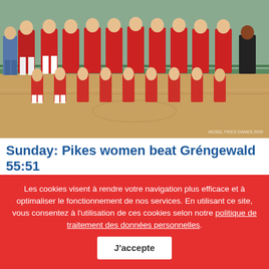[Figure (photo): Team photo of Musel Pikes women's basketball team in red jerseys inside a gymnasium, two rows, approximately 12 players plus coach]
Sunday: Pikes women beat Gréngewald 55:51
27 septembre 2020
On Sunday, the Musel Pikes women were able to beat Gréngewald 55:51. It was the 4th game of the women's Total League this weekend and the only Sunday game. In a low scoring ga...
Les cookies visent à rendre votre navigation plus efficace et à optimaliser le fonctionnement de nos services. En utilisant ce site, vous consentez à l'utilisation de ces cookies selon notre politique de traitement des données personnelles.